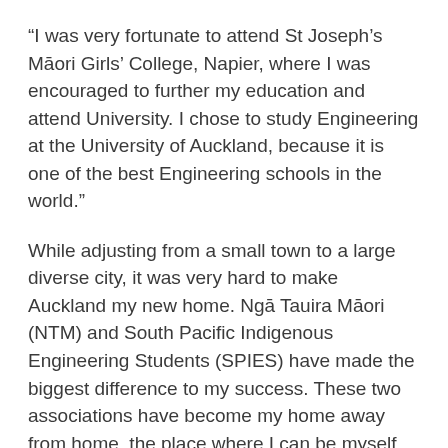“I was very fortunate to attend St Joseph’s Māori Girls’ College, Napier, where I was encouraged to further my education and attend University. I chose to study Engineering at the University of Auckland, because it is one of the best Engineering schools in the world.”
While adjusting from a small town to a large diverse city, it was very hard to make Auckland my new home. Ngā Tauira Māori (NTM) and South Pacific Indigenous Engineering Students (SPIES) have made the biggest difference to my success. These two associations have become my home away from home, the place where I can be myself, where I can be Māori. Being a part of these associations has allowed me to meet many wonderful people who encourage me to stay true to my culture and to myself. Both associations have social and educational events that benefit you. I have experienced times where they have